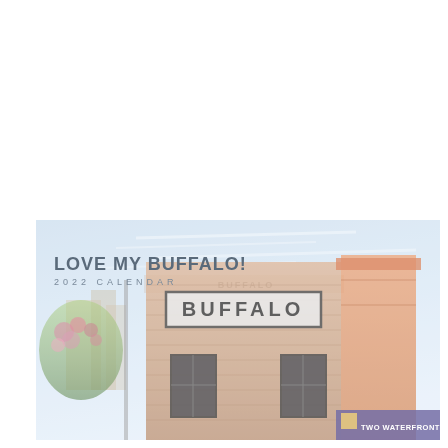[Figure (photo): Cover of 'Love My Buffalo! 2022 Calendar' showing a washed-out/faded photograph of a building in Buffalo, NY with a 'BUFFALO' sign prominently displayed on a wooden-facade building, orange awning on the right, colorful flowers on the left, and a 'Two Waterfronts' sign at the bottom right. The image occupies the bottom portion of the page; the top half is white.]
LOVE MY BUFFALO!
2022 CALENDAR